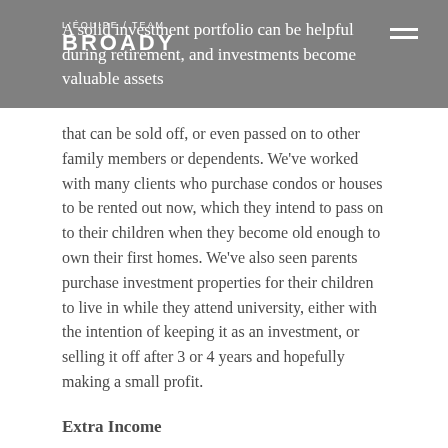L'ÉQUIPE / TEAM BROADY
A solid investment portfolio can be helpful during retirement, and investments become valuable assets that can be sold off, or even passed on to other family members or dependents. We've worked with many clients who purchase condos or houses to be rented out now, which they intend to pass on to their children when they become old enough to own their first homes. We've also seen parents purchase investment properties for their children to live in while they attend university, either with the intention of keeping it as an investment, or selling it off after 3 or 4 years and hopefully making a small profit.
Extra Income
In the long run, one of the biggest advantages to becoming a landlord is the rental income. Although this isn't always possible at the very beginning, some